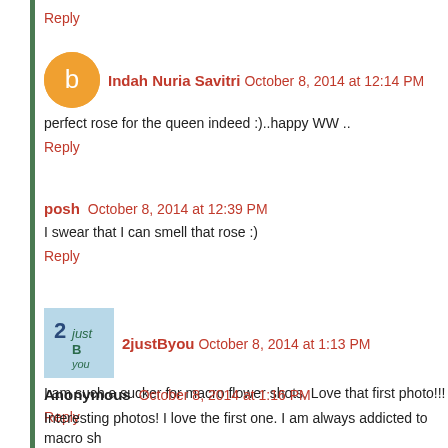Reply
Indah Nuria Savitri October 8, 2014 at 12:14 PM
perfect rose for the queen indeed :)..happy WW ..
Reply
posh October 8, 2014 at 12:39 PM
I swear that I can smell that rose :)
Reply
2justByou October 8, 2014 at 1:13 PM
I am such a sucker for macro flower shots. Love that first photo!!!
Reply
Anonymous October 8, 2014 at 1:16 PM
Interesting photos! I love the first one. I am always addicted to macro sh
Reply